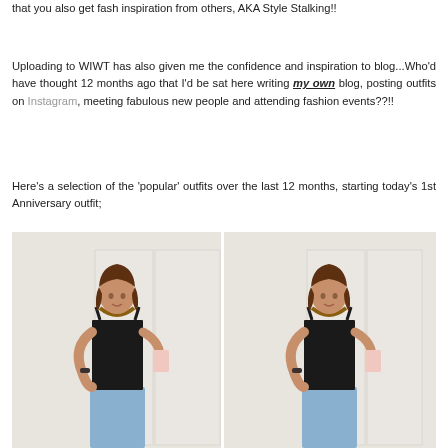that you also get fash inspiration from others, AKA Style Stalking!!
Uploading to WIWT has also given me the confidence and inspiration to blog...Who'd have thought 12 months ago that I'd be sat here writing my own blog, posting outfits on Instagram, meeting fabulous new people and attending fashion events??!!
Here's a selection of the 'popular' outfits over the last 12 months, starting today's 1st Anniversary outfit;
[Figure (photo): Two side-by-side mirror selfie photos of a young woman wearing a black spaghetti-strap top, statement necklace, and light blue distressed jeans, holding a phone to take a selfie in front of white wardrobe doors.]